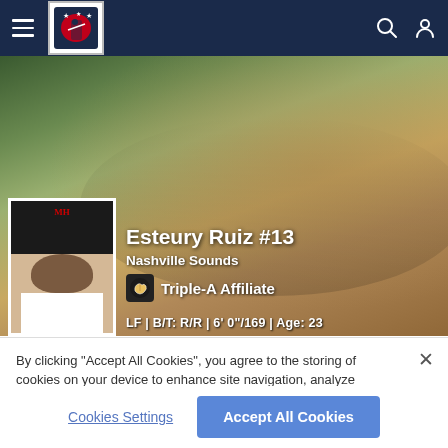MiLB navigation bar with hamburger menu, MiLB logo, search and user icons
[Figure (photo): Baseball player Esteury Ruiz #13 diving/sliding headfirst on a dirt baseball field, wearing white Milwaukee Brewers minor league uniform. Inset headshot photo of the player in bottom-left of hero image.]
Esteury Ruiz #13
Nashville Sounds
Triple-A Affiliate
LF | B/T: R/R | 6' 0"/169 | Age: 23
By clicking “Accept All Cookies”, you agree to the storing of cookies on your device to enhance site navigation, analyze site usage, and assist in our marketing efforts.
Cookies Settings
Accept All Cookies